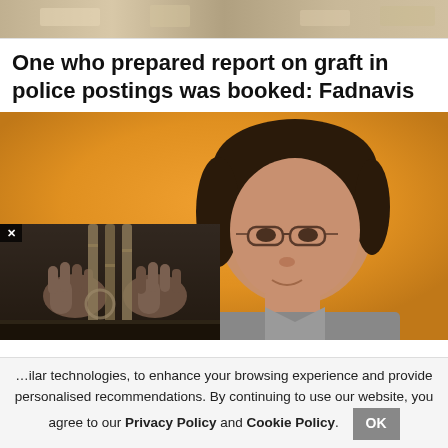[Figure (photo): Partial top image showing a meeting or dinner table setting, cropped at the top of the page.]
One who prepared report on graft in police postings was booked: Fadnavis
[Figure (photo): Main image showing a woman with short dark hair and glasses wearing a uniform, on an orange background. Overlaid in the lower left is a smaller image of hands gripping prison bars in black and white.]
hilar technologies, to enhance your browsing experience and provide personalised recommendations. By continuing to use our website, you agree to our Privacy Policy and Cookie Policy.